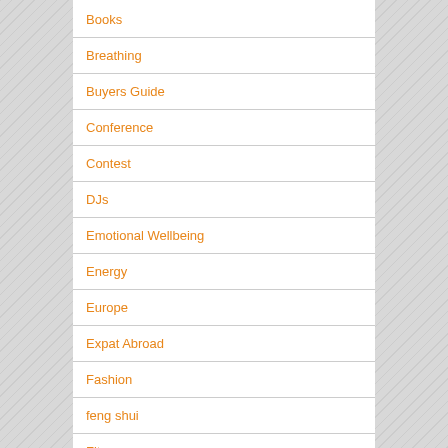Books
Breathing
Buyers Guide
Conference
Contest
DJs
Emotional Wellbeing
Energy
Europe
Expat Abroad
Fashion
feng shui
Fitness
Food
Gear